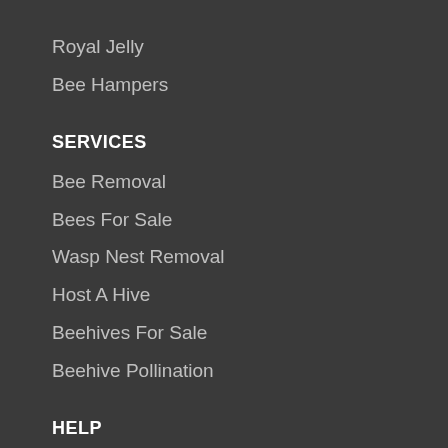Royal Jelly
Bee Hampers
SERVICES
Bee Removal
Bees For Sale
Wasp Nest Removal
Host A Hive
Beehives For Sale
Beehive Pollination
HELP
Contact Us
GET IN TOUCH